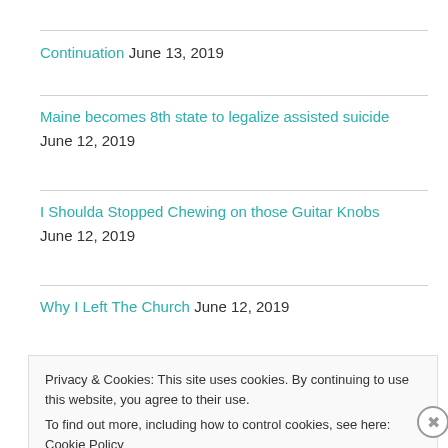Continuation June 13, 2019
Maine becomes 8th state to legalize assisted suicide June 12, 2019
I Shoulda Stopped Chewing on those Guitar Knobs June 12, 2019
Why I Left The Church June 12, 2019
Privacy & Cookies: This site uses cookies. By continuing to use this website, you agree to their use.
To find out more, including how to control cookies, see here: Cookie Policy